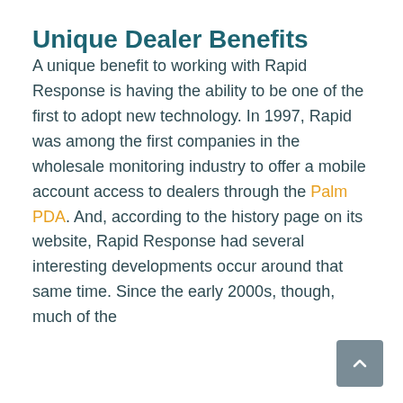Unique Dealer Benefits
A unique benefit to working with Rapid Response is having the ability to be one of the first to adopt new technology. In 1997, Rapid was among the first companies in the wholesale monitoring industry to offer a mobile account access to dealers through the Palm PDA. And, according to the history page on its website, Rapid Response had several interesting developments occur around that same time. Since the early 2000s, though, much of the